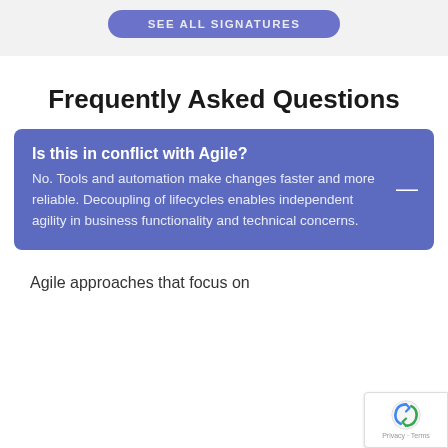[Figure (other): Blue-purple rounded button labeled SEE ALL SIGNATURES on a light grey background]
Frequently Asked Questions
Is this in conflict with Agile?
No. Tools and automation make changes faster and more reliable. Decoupling of lifecycles enables independent agility in business functionality and technical concerns.
Agile approaches that focus on